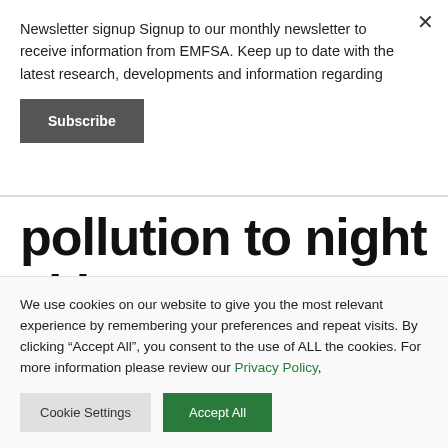Newsletter signup Signup to our monthly newsletter to receive information from EMFSA. Keep up to date with the latest research, developments and information regarding
Subscribe
pollution to night skies
APRIL 1, 2021   EDITOR   NEWS
We use cookies on our website to give you the most relevant experience by remembering your preferences and repeat visits. By clicking “Accept All”, you consent to the use of ALL the cookies. For more information please review our Privacy Policy,
Cookie Settings
Accept All